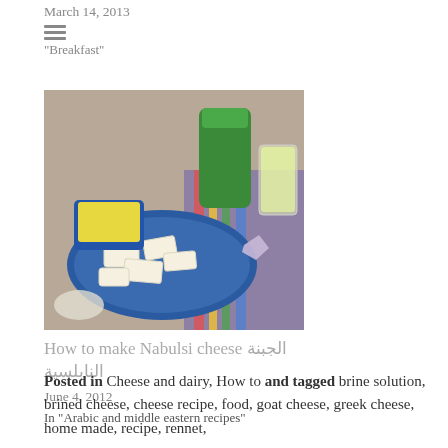March 14, 2013
In "Breakfast"
In "Chicken"
[Figure (photo): A spread of Nabulsi cheese pieces on a blue plate, with a cup of liquid, green thermos, and a glass of what appears to be lemon drink in the background on a colorful tablecloth.]
How to make Nabulsi cheese الجبنة النابلسية
June 4, 2012
In "Arabic and middle eastern recipes"
Posted in Cheese and dairy, How to and tagged brine solution, brined cheese, cheese recipe, food, goat cheese, greek cheese, home made, recipe, rennet,